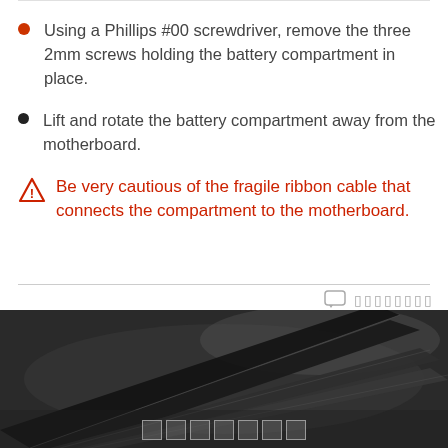Using a Phillips #00 screwdriver, remove the three 2mm screws holding the battery compartment in place.
Lift and rotate the battery compartment away from the motherboard.
Be very cautious of the fragile ribbon cable that connects the compartment to the motherboard.
[Figure (photo): Black and white photo of black pry tools / spudgers arranged diagonally on a gray surface]